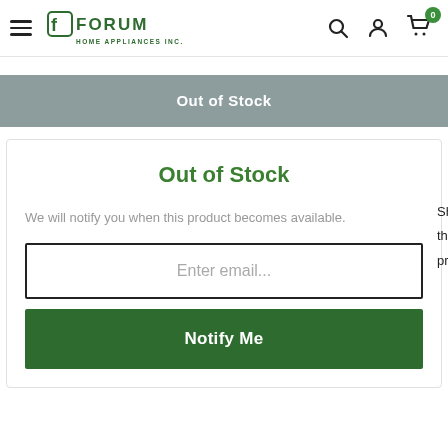Forum Home Appliances Inc.
Out of Stock
Out of Stock
We will notify you when this product becomes available.
Enter email...
Notify Me